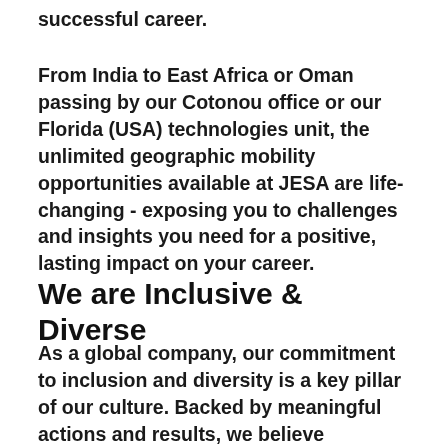successful career.
From India to East Africa or Oman passing by our Cotonou office or our Florida (USA) technologies unit, the unlimited geographic mobility opportunities available at JESA are life-changing - exposing you to challenges and insights you need for a positive, lasting impact on your career.
We are Inclusive & Diverse
As a global company, our commitment to inclusion and diversity is a key pillar of our culture. Backed by meaningful actions and results, we believe inclusion